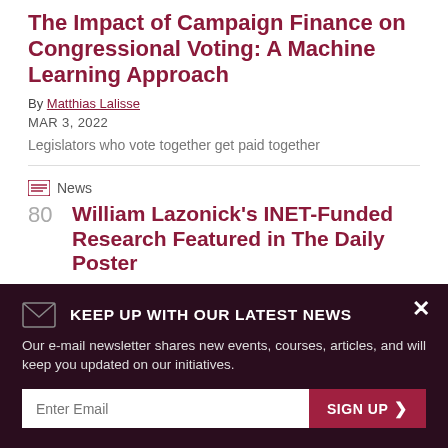The Impact of Campaign Finance on Congressional Voting: A Machine Learning Approach
By Matthias Lalisse
MAR 3, 2022
Legislators who vote together get paid together
News
William Lazonick's INET-Funded Research Featured in The Daily Poster
MAR 3, 2022
The Daily Poster cites INET research on stock buybacks
KEEP UP WITH OUR LATEST NEWS
Our e-mail newsletter shares new events, courses, articles, and will keep you updated on our initiatives.